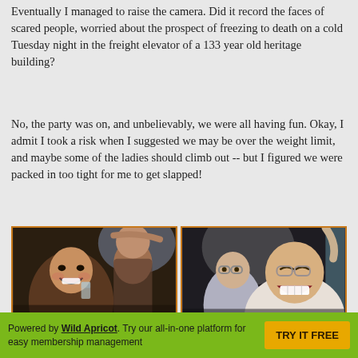Eventually I managed to raise the camera.  Did it record the faces of scared people, worried about the prospect of freezing to death on a cold Tuesday night in the freight elevator of a 133 year old heritage building?
No, the party was on, and unbelievably, we were all having fun.  Okay, I admit I took a risk when I suggested we may be over the weight limit, and maybe some of the ladies should climb out -- but I figured we were packed in too tight for me to get slapped!
[Figure (photo): Two side-by-side photos of people laughing and having fun in what appears to be a freight elevator. Left photo shows an Asian man laughing holding a drink glass with others behind him. Right photo shows an older man with glasses laughing broadly with others around him.]
Powered by Wild Apricot. Try our all-in-one platform for easy membership management  TRY IT FREE